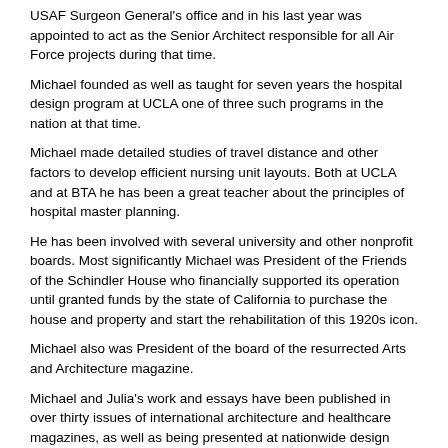USAF Surgeon General's office and in his last year was appointed to act as the Senior Architect responsible for all Air Force projects during that time.
Michael founded as well as taught for seven years the hospital design program at UCLA one of three such programs in the nation at that time.
Michael made detailed studies of travel distance and other factors to develop efficient nursing unit layouts. Both at UCLA and at BTA he has been a great teacher about the principles of hospital master planning.
He has been involved with several university and other nonprofit boards. Most significantly Michael was President of the Friends of the Schindler House who financially supported its operation until granted funds by the state of California to purchase the house and property and start the rehabilitation of this 1920s icon.
Michael also was President of the board of the resurrected Arts and Architecture magazine.
Michael and Julia's work and essays have been published in over thirty issues of international architecture and healthcare magazines, as well as being presented at nationwide design